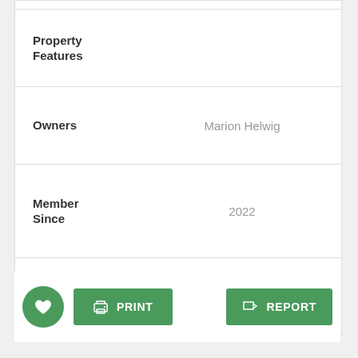| Field | Value |
| --- | --- |
| Property Features |  |
| Owners | Marion Helwig |
| Member Since | 2022 |
| Website |  |
PRINT
REPORT